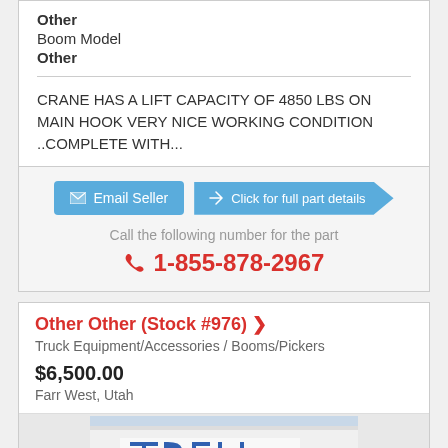Other
Boom Model
Other
CRANE HAS A LIFT CAPACITY OF 4850 LBS ON MAIN HOOK VERY NICE WORKING CONDITION ..COMPLETE WITH...
[Figure (screenshot): Email Seller button and Click for full part details arrow button]
Call the following number for the part
1-855-878-2967
Other Other (Stock #976)
Truck Equipment/Accessories / Booms/Pickers
$6,500.00
Farr West, Utah
[Figure (photo): Partial photo of a truck with TRELI text visible on the trailer side]